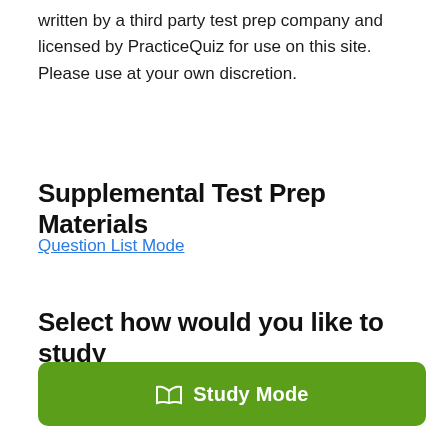written by a third party test prep company and licensed by PracticeQuiz for use on this site. Please use at your own discretion.
Supplemental Test Prep Materials
Question List Mode
Select how would you like to study
[Figure (other): Green button labeled 'Study Mode' with a book icon]